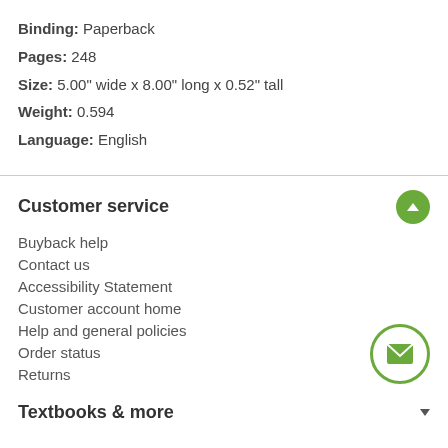Binding: Paperback
Pages: 248
Size: 5.00" wide x 8.00" long x 0.52" tall
Weight: 0.594
Language: English
Customer service
Buyback help
Contact us
Accessibility Statement
Customer account home
Help and general policies
Order status
Returns
Textbooks & more